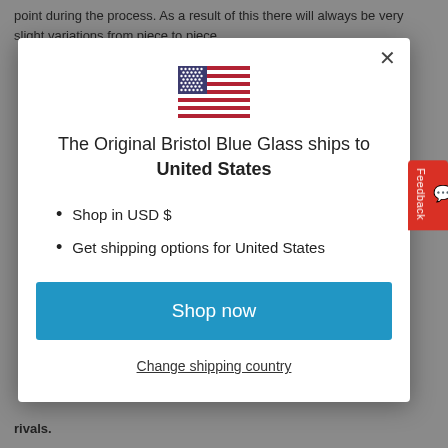point during the process. As a result of this there will always be very slight variations from piece to piece,
[Figure (illustration): US flag emoji/icon centered in modal]
The Original Bristol Blue Glass ships to United States
Shop in USD $
Get shipping options for United States
Shop now
Change shipping country
rivals.